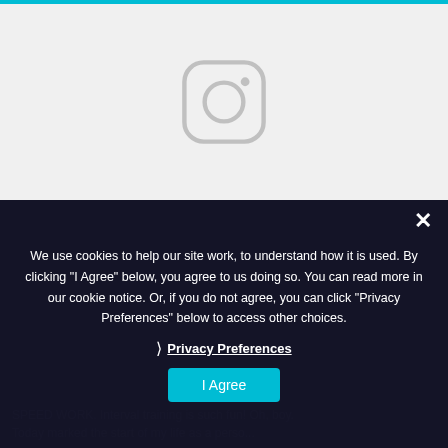[Figure (logo): Instagram placeholder icon in a light gray rounded square shape on a light gray background]
We use cookies to help our site work, to understand how it is used. By clicking "I Agree" below, you agree to us doing so. You can read more in our cookie notice. Or, if you do not agree, you can click "Privacy Preferences" below to access other choices.
❯ Privacy Preferences
I Agree
SPEED WORK. Interval training is such fun! Oh, boy. Today marked the start of my life as a perso...